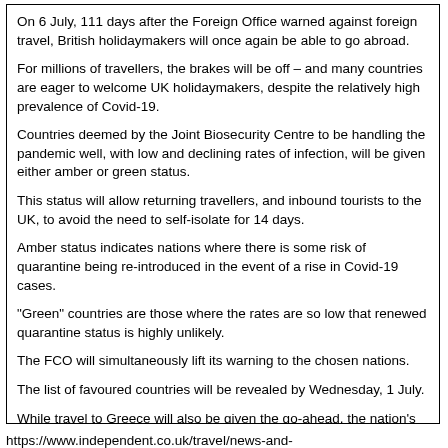On 6 July, 111 days after the Foreign Office warned against foreign travel, British holidaymakers will once again be able to go abroad.
For millions of travellers, the brakes will be off – and many countries are eager to welcome UK holidaymakers, despite the relatively high prevalence of Covid-19.
Countries deemed by the Joint Biosecurity Centre to be handling the pandemic well, with low and declining rates of infection, will be given either amber or green status.
This status will allow returning travellers, and inbound tourists to the UK, to avoid the need to self-isolate for 14 days.
Amber status indicates nations where there is some risk of quarantine being re-introduced in the event of a rise in Covid-19 cases.
“Green” countries are those where the rates are so low that renewed quarantine status is highly unlikely.
The FCO will simultaneously lift its warning to the chosen nations.
The list of favoured countries will be revealed by Wednesday, 1 July.
While travel to Greece will also be given the go-ahead, the nation’s tourism minister has indicated that British visitors may not immediately be welcome.
https://www.independent.co.uk/travel/news-and-